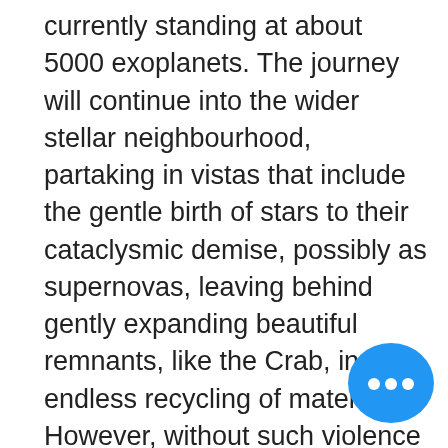currently standing at about 5000 exoplanets. The journey will continue into the wider stellar neighbourhood, partaking in vistas that include the gentle birth of stars to their cataclysmic demise, possibly as supernovas, leaving behind gently expanding beautiful remnants, like the Crab, in an endless recycling of material. However, without such violence we might not be here to witness it. Perhaps we shall be guided by the beams of light provided by the lighthouses of the universe, the super-dense pulsars, generated from their  dizzying rotations. No doubt we shall witness the most violent of all events, the birth scream of black holes, as subtly detected, now almost weekly, by gravitational wave detectors. And, thanks to missions like Gaia, we now observe our galaxy growing and evolving as it cannibalizes smaller
[Figure (illustration): Blue chat bubble icon with three white dots (ellipsis), partially overlapping the text in the bottom right corner]